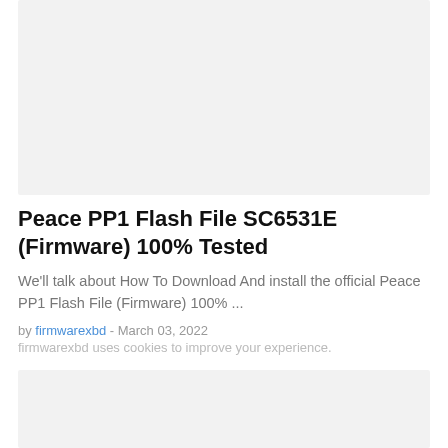[Figure (other): Gray advertisement placeholder block at top]
Peace PP1 Flash File SC6531E (Firmware) 100% Tested
We'll talk about How To Download And install the official Peace PP1 Flash File (Firmware) 100% ...
by firmwarexbd - March 03, 2022
firmwarexbd uses cookies to improve your experience.
[Figure (other): Gray advertisement placeholder block at bottom]